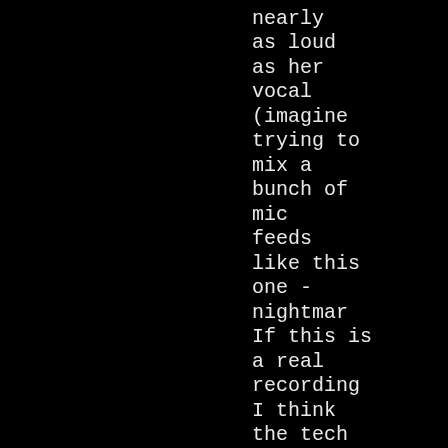band is
nearly
as loud
as her
vocal
(imagine
trying to
mix a
bunch of
mic
feeds
like this
one -
nightmar
If this is
a real
recording
I think
the tech
crew
should've
been
more
embaras